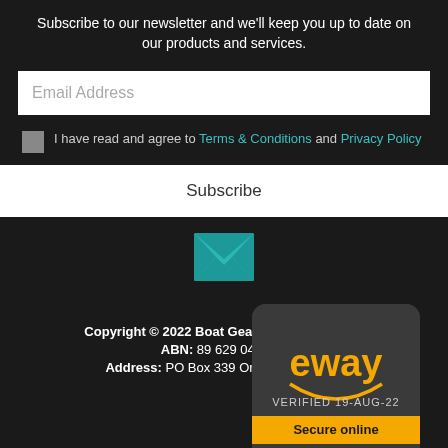Subscribe to our newsletter and we'll keep you up to date on our products and services.
Email Address
I have read and agree to Terms & Conditions and Privacy Policy
Subscribe
[Figure (illustration): Teal envelope/mail icon]
Copyright © 2022 Boat Gear Australia Pty Ltd
ABN: 89 629 049 038
Address: PO Box 339 Ormeau Qld 4208
[Figure (logo): eWAY payment gateway badge — VERIFIED 19-AUG-22, Secure online]